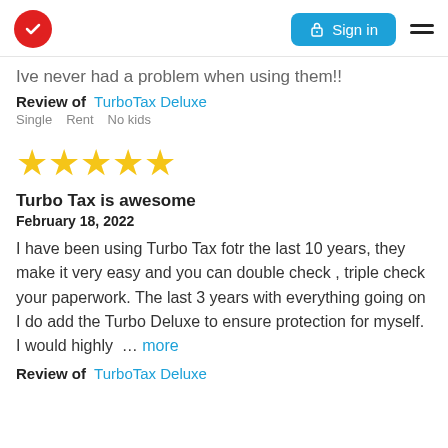TurboTax logo | Sign in | Menu
Ive never had a problem when using them!!
Review of  TurboTax Deluxe
Single   Rent   No kids
[Figure (other): Five gold stars rating]
Turbo Tax is awesome
February 18, 2022
I have been using Turbo Tax fotr the last 10 years, they make it very easy and you can double check , triple check your paperwork. The last 3 years with everything going on I do add the Turbo Deluxe to ensure protection for myself. I would highly  ...  more
Review of  TurboTax Deluxe